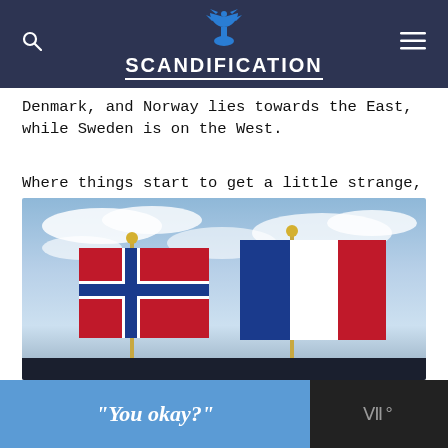SCANDIFICATION
Denmark, and Norway lies towards the East, while Sweden is on the West.
Where things start to get a little strange, is that geographically, there are only 3 Scandinavian countries to list in any definition of the region. However, from a cultural perspective, if you consider the heritage and nature of the countries, there are 6 locations to consider.
[Figure (photo): Photograph of Scandinavian flags on flagpoles against a cloudy sky]
“You okay?”